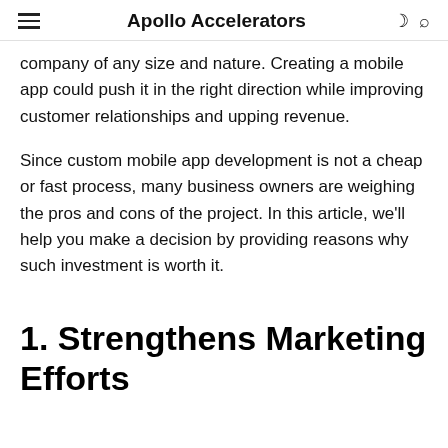Apollo Accelerators
company of any size and nature. Creating a mobile app could push it in the right direction while improving customer relationships and upping revenue.
Since custom mobile app development is not a cheap or fast process, many business owners are weighing the pros and cons of the project. In this article, we'll help you make a decision by providing reasons why such investment is worth it.
1. Strengthens Marketing Efforts